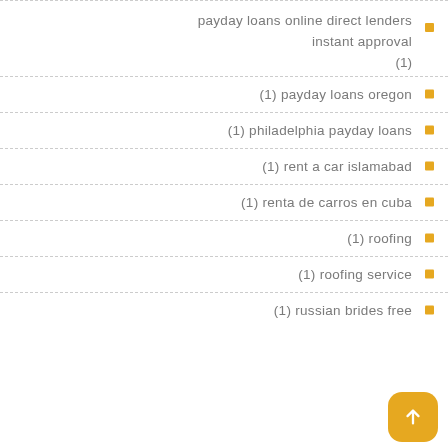payday loans online direct lenders instant approval (1)
(1) payday loans oregon
(1) philadelphia payday loans
(1) rent a car islamabad
(1) renta de carros en cuba
(1) roofing
(1) roofing service
(1) russian brides free